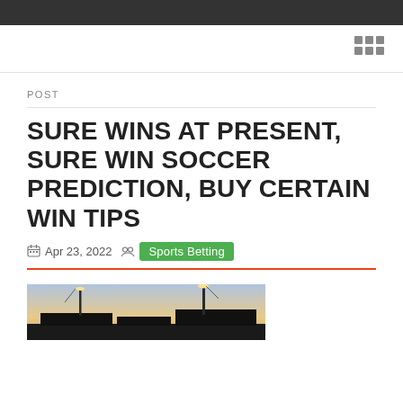POST
SURE WINS AT PRESENT, SURE WIN SOCCER PREDICTION, BUY CERTAIN WIN TIPS
Apr 23, 2022  Sports Betting
[Figure (photo): Sports stadium photo at dusk/twilight with floodlights]